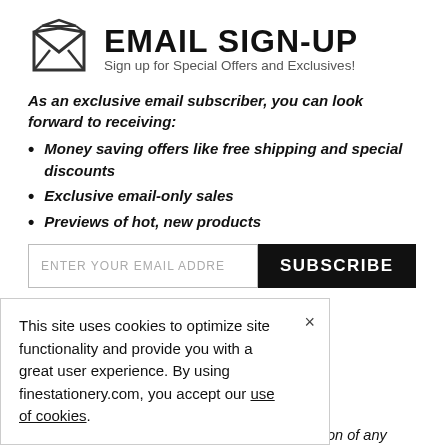EMAIL SIGN-UP
Sign up for Special Offers and Exclusives!
As an exclusive email subscriber, you can look forward to receiving:
Money saving offers like free shipping and special discounts
Exclusive email-only sales
Previews of hot, new products
[Figure (screenshot): Email input field with placeholder text 'ENTER YOUR EMAIL ADDRE' and a black SUBSCRIBE button]
SMS/TEXT SIGN-UP
n your phone!
ceive recurring d marketing messages y at the cell number used when signing up. Consent is not a condition of any purchase. Reply HELP for help and STOP to cancel. Msg frequency varies. Msg & data rates may apply. View TERMS & PRIVACY.
This site uses cookies to optimize site functionality and provide you with a great user experience. By using finestationery.com, you accept our use of cookies.